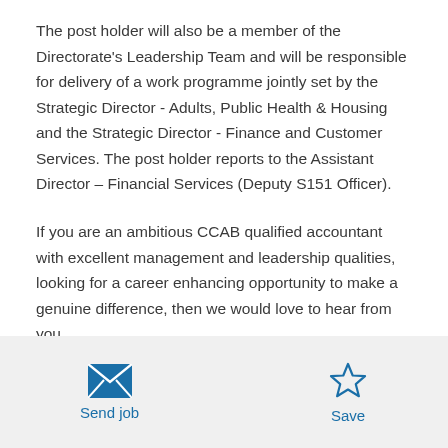The post holder will also be a member of the Directorate's Leadership Team and will be responsible for delivery of a work programme jointly set by the Strategic Director - Adults, Public Health & Housing and the Strategic Director - Finance and Customer Services. The post holder reports to the Assistant Director – Financial Services (Deputy S151 Officer).
If you are an ambitious CCAB qualified accountant with excellent management and leadership qualities, looking for a career enhancing opportunity to make a genuine difference, then we would love to hear from you.
[Figure (illustration): Send job button with envelope icon and Save button with star icon]